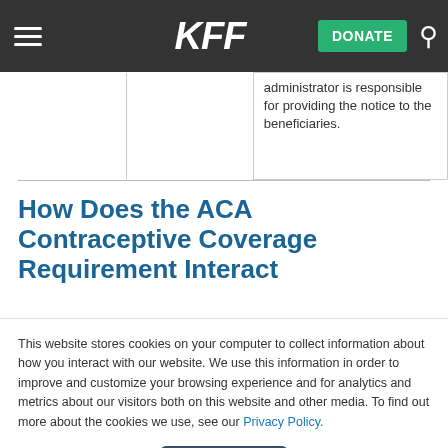KFF | DONATE
|  |  | administrator is responsible for providing the notice to the beneficiaries. |
How Does the ACA Contraceptive Coverage Requirement Interact
This website stores cookies on your computer to collect information about how you interact with our website. We use this information in order to improve and customize your browsing experience and for analytics and metrics about our visitors both on this website and other media. To find out more about the cookies we use, see our Privacy Policy.
Accept